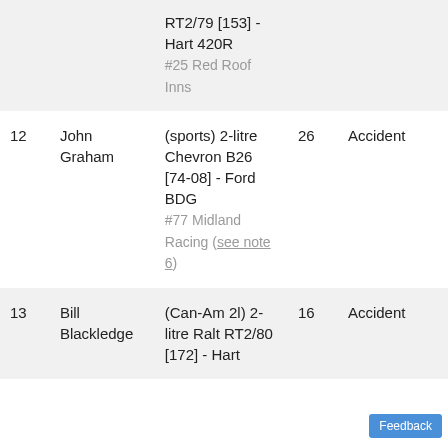| # | Driver | Car | Laps | Reason |
| --- | --- | --- | --- | --- |
|  |  | RT2/79 [153] - Hart 420R
#25 Red Roof Inns |  |  |
| 12 | John Graham | (sports) 2-litre Chevron B26 [74-08] - Ford BDG
#77 Midland Racing (see note 6) | 26 | Accident |
| 13 | Bill Blackledge | (Can-Am 2l) 2-litre Ralt RT2/80 [172] - Hart | 16 | Accident |